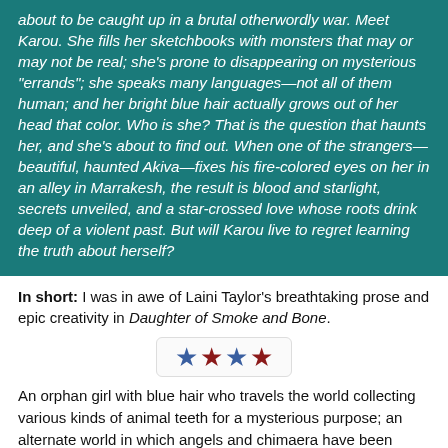about to be caught up in a brutal otherwordly war. Meet Karou. She fills her sketchbooks with monsters that may or may not be real; she's prone to disappearing on mysterious "errands"; she speaks many languages—not all of them human; and her bright blue hair actually grows out of her head that color. Who is she? That is the question that haunts her, and she's about to find out. When one of the strangers—beautiful, haunted Akiva—fixes his fire-colored eyes on her in an alley in Marrakesh, the result is blood and starlight, secrets unveiled, and a star-crossed love whose roots drink deep of a violent past. But will Karou live to regret learning the truth about herself?
In short: I was in awe of Laini Taylor's breathtaking prose and epic creativity in Daughter of Smoke and Bone.
[Figure (infographic): Star rating: three blue stars and one red star (4 stars total displayed in a bordered box)]
An orphan girl with blue hair who travels the world collecting various kinds of animal teeth for a mysterious purpose; an alternate world in which angels and chimaera have been fighting in a millenia-long war; monsters made up of bits and